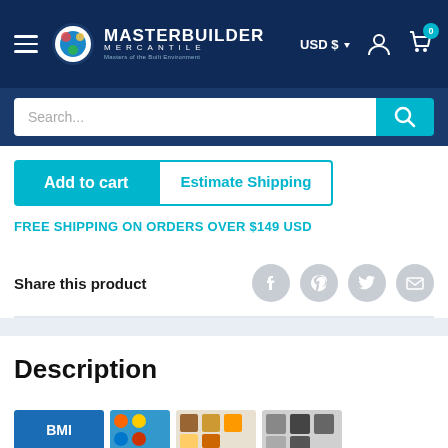Masterbuilder Mercantile — USD $ — Cart 0
Search...
Add to cart
Estimate Shipping
FREE SHIPPING ON ORDERS OVER $149 USD
Share this product
Description